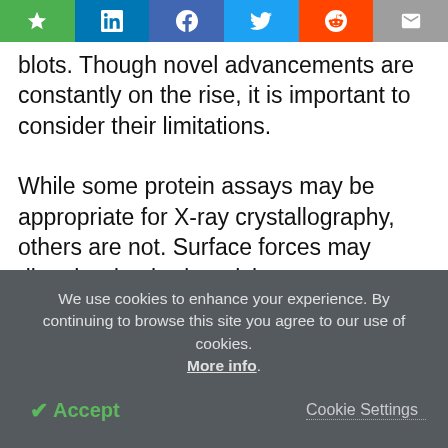[Figure (other): Social media sharing bar with icons: star/bookmark (green), LinkedIn (blue), Facebook (blue), Twitter (light blue), Reddit (orange), email/mail (grey)]
blots. Though novel advancements are constantly on the rise, it is important to consider their limitations.

While some protein assays may be appropriate for X-ray crystallography, others are not. Surface forces may disturb adsorbed particles, or some proteins may not adhere to a typical rhomboid, cubic, or trigonal lattice, which will result in low-quality diffraction data. Western blots can only be adopted if primary antibodies that complement the protein are available. In both X-ray crystallography and western blotting, post
We use cookies to enhance your experience. By continuing to browse this site you agree to our use of cookies. More info.
✔ Accept	Cookie Settings